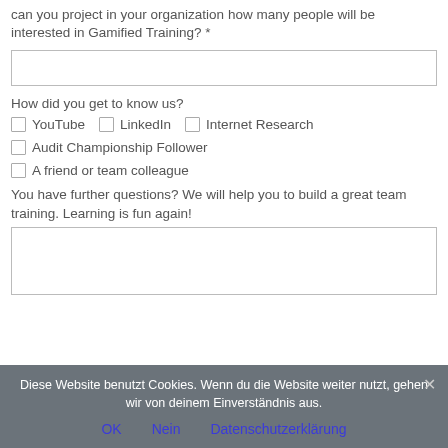can you project in your organization how many people will be interested in Gamified Training? *
How did you get to know us?
YouTube
LinkedIn
Internet Research
Audit Championship Follower
A friend or team colleague
You have further questions? We will help you to build a great team training. Learning is fun again!
Diese Website benutzt Cookies. Wenn du die Website weiter nutzt, gehen wir von deinem Einverständnis aus.
OK
Nein
Datenschutzerklärung